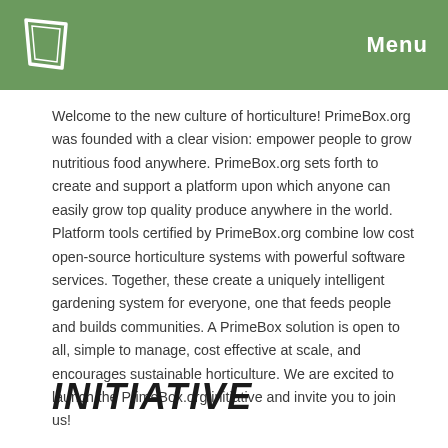Menu
Welcome to the new culture of horticulture! PrimeBox.org was founded with a clear vision: empower people to grow nutritious food anywhere. PrimeBox.org sets forth to create and support a platform upon which anyone can easily grow top quality produce anywhere in the world. Platform tools certified by PrimeBox.org combine low cost open-source horticulture systems with powerful software services. Together, these create a uniquely intelligent gardening system for everyone, one that feeds people and builds communities. A PrimeBox solution is open to all, simple to manage, cost effective at scale, and encourages sustainable horticulture. We are excited to launch the PrimeBox.org initiative and invite you to join us!
Initiative